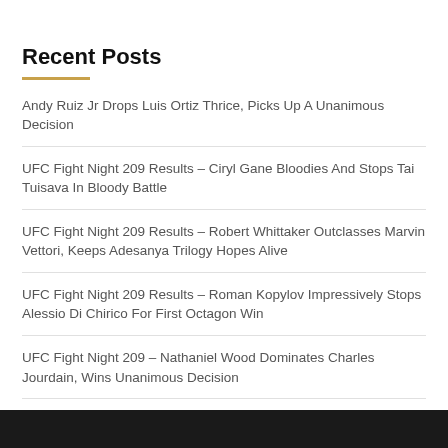Recent Posts
Andy Ruiz Jr Drops Luis Ortiz Thrice, Picks Up A Unanimous Decision
UFC Fight Night 209 Results – Ciryl Gane Bloodies And Stops Tai Tuisava In Bloody Battle
UFC Fight Night 209 Results – Robert Whittaker Outclasses Marvin Vettori, Keeps Adesanya Trilogy Hopes Alive
UFC Fight Night 209 Results – Roman Kopylov Impressively Stops Alessio Di Chirico For First Octagon Win
UFC Fight Night 209 – Nathaniel Wood Dominates Charles Jourdain, Wins Unanimous Decision